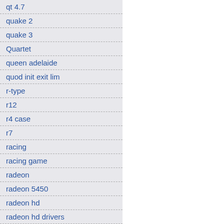qt 4.7
quake 2
quake 3
Quartet
queen adelaide
quod init exit lim
r-type
r12
r4 case
r7
racing
racing game
radeon
radeon 5450
radeon hd
radeon hd drivers
radeon X1950
radiance
raid
[Figure (photo): Close-up photo of a laptop keyboard, viewed from an angle, showing grey keys on a silver body.]
Time for testing the setup, using Australia famous Supercars and
[Figure (photo): Photo of a wooden bookshelf filled with books and DVDs, with a monitor screen visible on the right edge.]